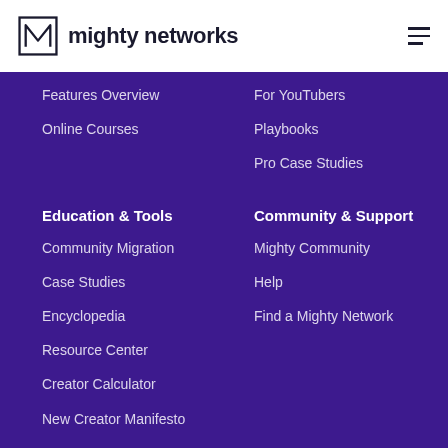mighty networks
Features Overview
Online Courses
For YouTubers
Playbooks
Pro Case Studies
Education & Tools
Community Migration
Case Studies
Encyclopedia
Resource Center
Creator Calculator
New Creator Manifesto
Community & Support
Mighty Community
Help
Find a Mighty Network